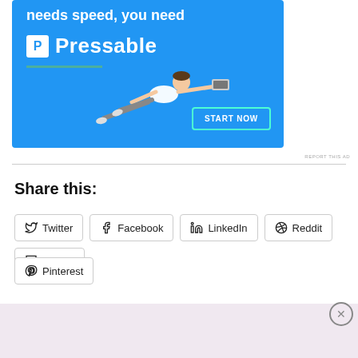[Figure (advertisement): Blue Pressable hosting advertisement with white text 'needs speed, you need Pressable', a person flying with a laptop, and a 'START NOW' button]
REPORT THIS AD
Share this:
Twitter Facebook LinkedIn Reddit Tumblr Pinterest
Advertisements
[Figure (advertisement): WordPress.com advertisement with 'Start Today' button on pink background]